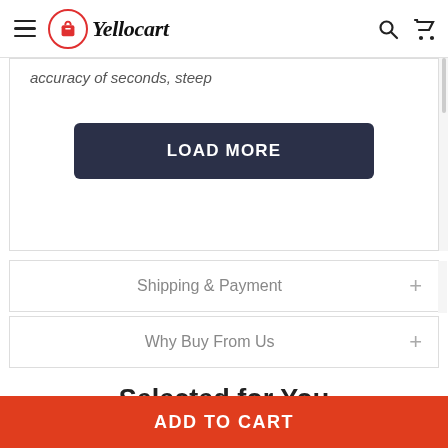Yellocart
accuracy of seconds, steep
LOAD MORE
Shipping & Payment
Why Buy From Us
Selected for You
ADD TO CART